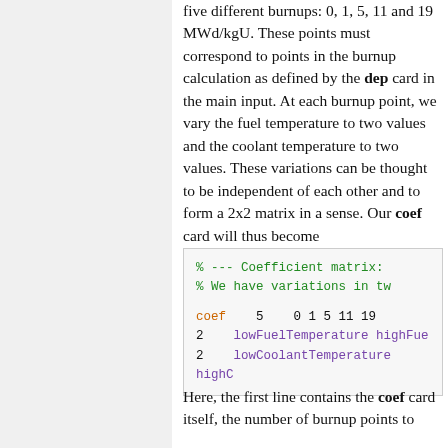five different burnups: 0, 1, 5, 11 and 19 MWd/kgU. These points must correspond to points in the burnup calculation as defined by the dep card in the main input. At each burnup point, we vary the fuel temperature to two values and the coolant temperature to two values. These variations can be thought to be independent of each other and to form a 2x2 matrix in a sense. Our coef card will thus become
Here, the first line contains the coef card itself, the number of burnup points to